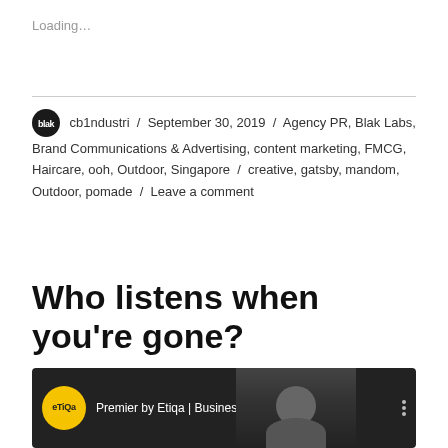Loading...
cb1ndustri / September 30, 2019 / Agency PR, Blak Labs, Brand Communications & Advertising, content marketing, FMCG, Haircare, ooh, Outdoor, Singapore / creative, gatsby, mandom, Outdoor, pomade / Leave a comment
Who listens when you're gone?
[Figure (screenshot): YouTube video thumbnail showing Premier by Etiqa | Business Co... with etiqa logo and a person's face in the background]